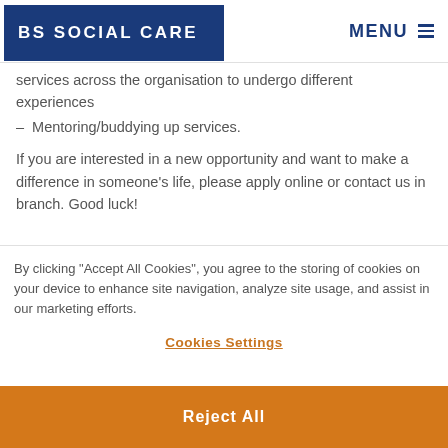BS SOCIAL CARE | MENU
services across the organisation to undergo different experiences
- Mentoring/buddying up services.
If you are interested in a new opportunity and want to make a difference in someone's life, please apply online or contact us in branch. Good luck!
By clicking "Accept All Cookies", you agree to the storing of cookies on your device to enhance site navigation, analyze site usage, and assist in our marketing efforts.
Cookies Settings
Reject All